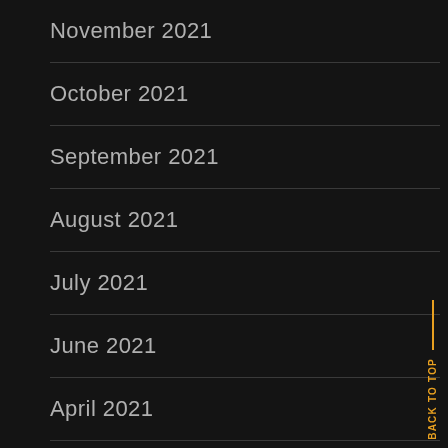November 2021
October 2021
September 2021
August 2021
July 2021
June 2021
April 2021
March 2021
BACK TO TOP